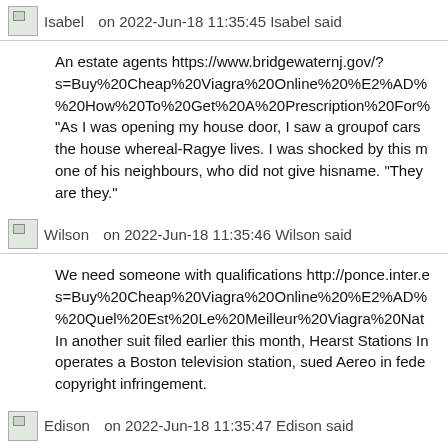Isabel  on 2022-Jun-18 11:35:45 Isabel said
An estate agents https://www.bridgewaternj.gov/?s=Buy%20Cheap%20Viagra%20Online%20%E2%AD%  %20How%20To%20Get%20A%20Prescription%20For% "As I was opening my house door, I saw a groupof cars the house whereal-Ragye lives. I was shocked by this m one of his neighbours, who did not give hisname. "They are they."
Wilson  on 2022-Jun-18 11:35:46 Wilson said
We need someone with qualifications http://ponce.inter.e s=Buy%20Cheap%20Viagra%20Online%20%E2%AD% %20Quel%20Est%20Le%20Meilleur%20Viagra%20Nat In another suit filed earlier this month, Hearst Stations In operates a Boston television station, sued Aereo in fede copyright infringement.
Edison  on 2022-Jun-18 11:35:47 Edison said